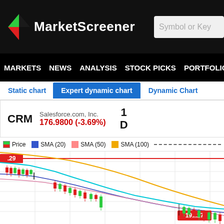MarketScreener — Symbol or Key
MARKETS NEWS ANALYSIS STOCK PICKS PORTFOLIOS WATCHLI
Static chart | Expert dynamic chart | Dynamic Chart
CRM Salesforce.com, Inc. 176.9800 (-3.69%) 1 D
[Figure (continuous-plot): CRM candlestick stock chart with SMA lines (20, 50, 100) and price levels at 191.27 and 229. Shows a downtrend in candlestick data with cyan SMA(20), purple SMA(50), and orange SMA(100) moving averages declining over time. Red horizontal line at 229 level. Price label 191.27 shown in red box.]